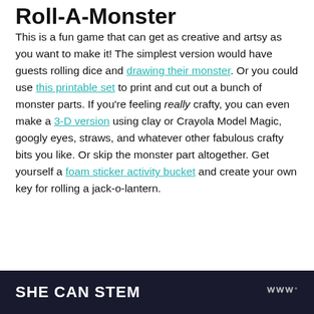Roll-A-Monster
This is a fun game that can get as creative and artsy as you want to make it! The simplest version would have guests rolling dice and drawing their monster. Or you could use this printable set to print and cut out a bunch of monster parts. If you're feeling really crafty, you can even make a 3-D version using clay or Crayola Model Magic, googly eyes, straws, and whatever other fabulous crafty bits you like. Or skip the monster part altogether. Get yourself a foam sticker activity bucket and create your own key for rolling a jack-o-lantern.
SHE CAN STEM